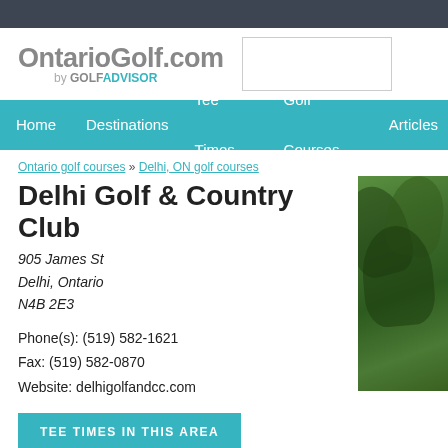[Figure (screenshot): OntarioGolf.com by GOLF ADVISOR website header logo]
OntarioGolf.com by GOLF ADVISOR
Home | Destinations | Tee Times | Golf Courses | Articles
Ontario golf courses » Delhi, ON golf courses
Delhi Golf & Country Club
905 James St
Delhi, Ontario
N4B 2E3
Phone(s): (519) 582-1621
Fax: (519) 582-0870
Website: delhigolfandcc.com
TEE TIMES IN THIS AREA